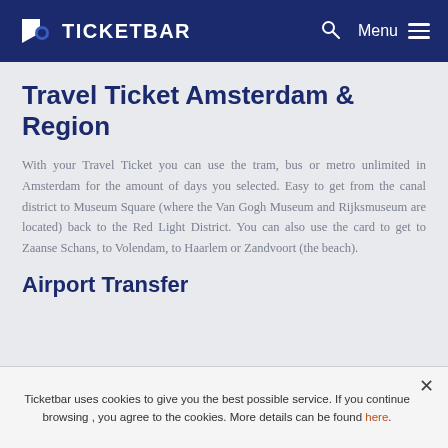TICKETBAR
Travel Ticket Amsterdam & Region
With your Travel Ticket you can use the tram, bus or metro unlimited in Amsterdam for the amount of days you selected. Easy to get from the canal district to Museum Square (where the Van Gogh Museum and Rijksmuseum are located) back to the Red Light District. You can also use the card to get to Zaanse Schans, to Volendam, to Haarlem or Zandvoort (the beach).
Airport Transfer
Ticketbar uses cookies to give you the best possible service. If you continue browsing , you agree to the cookies. More details can be found here.